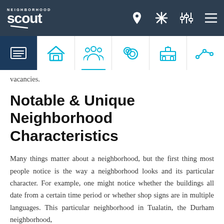Neighborhood Scout - Navigation header with logo and icons
vacancies.
Notable & Unique Neighborhood Characteristics
Many things matter about a neighborhood, but the first thing most people notice is the way a neighborhood looks and its particular character. For example, one might notice whether the buildings all date from a certain time period or whether shop signs are in multiple languages. This particular neighborhood in Tualatin, the Durham neighborhood,